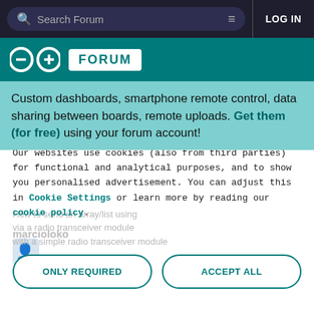Search Forum  LOG IN
[Figure (logo): Arduino forum logo with infinity symbol and FORUM badge on teal background]
Custom dashboards, smartphone remote control, data sharing between boards, remote uploads. Get them (for free) using your forum account!
We use cookies 🍪
Our websites use cookies (also from third parties) for functional and analytical purposes, and to show you personalised advertisement. You can adjust this in Cookie Settings or learn more by reading our cookie policy.
ONLY REQUIRED
ACCEPT ALL